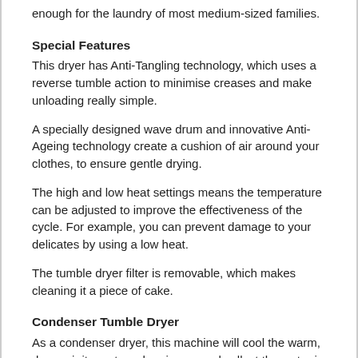enough for the laundry of most medium-sized families.
Special Features
This dryer has Anti-Tangling technology, which uses a reverse tumble action to minimise creases and make unloading really simple.
A specially designed wave drum and innovative Anti-Ageing technology create a cushion of air around your clothes, to ensure gentle drying.
The high and low heat settings means the temperature can be adjusted to improve the effectiveness of the cycle. For example, you can prevent damage to your delicates by using a low heat.
The tumble dryer filter is removable, which makes cleaning it a piece of cake.
Condenser Tumble Dryer
As a condenser dryer, this machine will cool the warm, damp air it creates when in use and collect the water in an internal reservoir. This container is easy to access, which makes